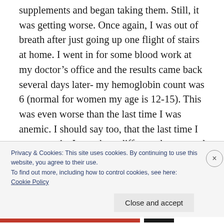supplements and began taking them. Still, it was getting worse. Once again, I was out of breath after just going up one flight of stairs at home. I went in for some blood work at my doctor's office and the results came back several days later- my hemoglobin count was 6 (normal for women my age is 12-15). This was even worse than the last time I was anemic. I should say too, that the last time I was anemic, I saw three different doctors and after having multiple tests done, all of the doctors just
Privacy & Cookies: This site uses cookies. By continuing to use this website, you agree to their use.
To find out more, including how to control cookies, see here:
Cookie Policy
Close and accept